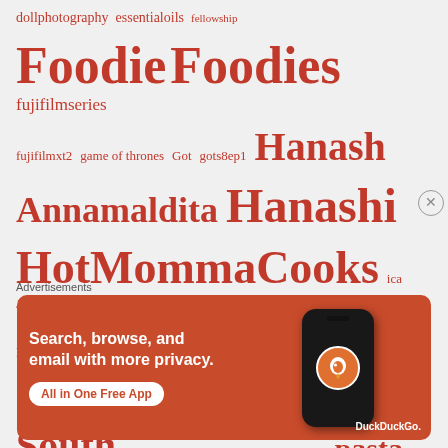[Figure (infographic): Word cloud of tags including: dollphotography, essentialoils, fellowship, Foodie, Foodies, fujifilmseries, fujifilmxt2, game of thrones, Got, gots8ep1, Hanash, Annamaldita, Hanashi, HotMommaCooks, ica, Japanese, Jesus, kant, LifeHacks, Lost, Maldita, Of, The, South, Market, Marriott, naturals, organics, pasta — rendered in red on light gray background at varying font sizes]
Advertisements
[Figure (screenshot): DuckDuckGo advertisement banner on orange background: 'Search, browse, and email with more privacy. All in One Free App' with phone mockup showing DuckDuckGo logo]